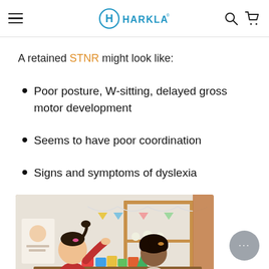Harkla - navigation bar with hamburger menu, Harkla logo, search and cart icons
A retained STNR might look like:
Poor posture, W-sitting, delayed gross motor development
Seems to have poor coordination
Signs and symptoms of dyslexia
[Figure (photo): Two young girls playing with colorful wooden blocks at a table in a bright, Montessori-style play area. One girl has a ponytail and wears a red dress; the other has curly hair. Wooden shelving and pastel decorations are visible in the background.]